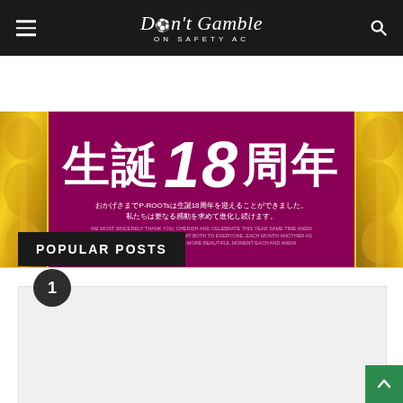Don't Gamble ON SAFETY AC
[Figure (photo): Japanese 18th anniversary banner with large kanji text '生誕18周年' (18th birthday/anniversary) on a magenta/pink background with ornate gold baroque decorative frames on left and right sides. Subtitle text in Japanese below the main heading.]
POPULAR POSTS
[Figure (photo): Post card number 1 with light gray background placeholder image area, with a dark circular badge showing number 1 in top left corner.]